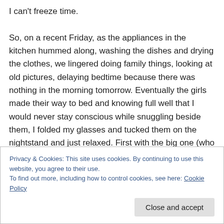I can't freeze time.

So, on a recent Friday, as the appliances in the kitchen hummed along, washing the dishes and drying the clothes, we lingered doing family things, looking at old pictures, delaying bedtime because there was nothing in the morning tomorrow. Eventually the girls made their way to bed and knowing full well that I would never stay conscious while snuggling beside them, I folded my glasses and tucked them on the nightstand and just relaxed. First with the big one (who had worn on
Privacy & Cookies: This site uses cookies. By continuing to use this website, you agree to their use.
To find out more, including how to control cookies, see here: Cookie Policy
Close and accept